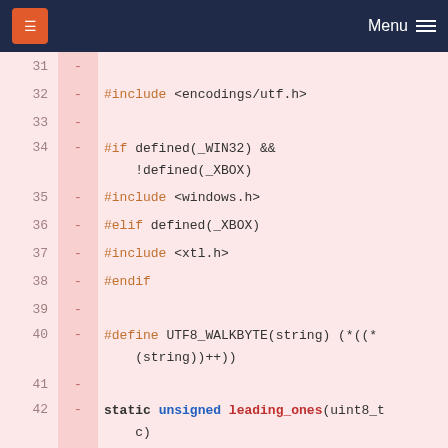Menu
Code diff showing lines 31-47 of a C/C++ source file with deleted lines (marked with -)
31 -
32 - #include <encodings/utf.h>
33 -
34 - #if defined(_WIN32) && !defined(_XBOX)
35 - #include <windows.h>
36 - #elif defined(_XBOX)
37 - #include <xtl.h>
38 - #endif
39 -
40 - #define UTF8_WALKBYTE(string) (*((*
(string))++))
41 -
42 - static unsigned leading_ones(uint8_t c)
43 - {
44 -     unsigned ones = 0;
45 -     while (c & 0x80)
46 -     {
47 -         ones++;